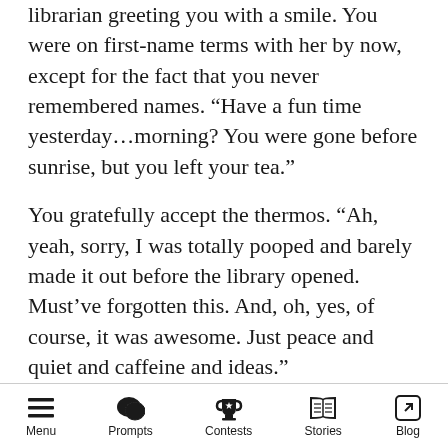librarian greeting you with a smile. You were on first-name terms with her by now, except for the fact that you never remembered names. “Have a fun time yesterday…morning? You were gone before sunrise, but you left your tea.”
You gratefully accept the thermos. “Ah, yeah, sorry, I was totally pooped and barely made it out before the library opened. Must’ve forgotten this. And, oh, yes, of course, it was awesome. Just peace and quiet and caffeine and ideas.”
She chuckles. “You’d better remember me when you’re a famous author, Cellani.”
You laugh too. “Of course.”
“What did you write it?”
Menu  Prompts  Contests  Stories  Blog